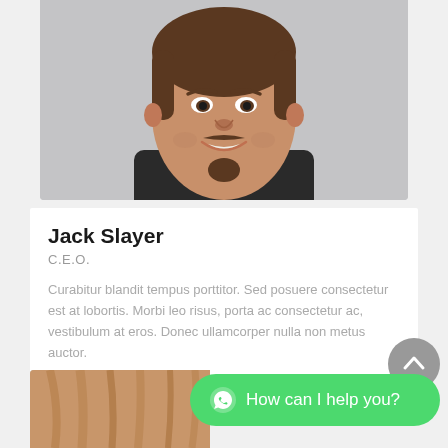[Figure (photo): Headshot photo of a man with beard and mustache wearing dark jacket, smiling]
Jack Slayer
C.E.O.
Curabitur blandit tempus porttitor. Sed posuere consectetur est at lobortis. Morbi leo risus, porta ac consectetur ac, vestibulum at eros. Donec ullamcorper nulla non metus auctor.
[Figure (illustration): Social media icons: Facebook, Twitter, LinkedIn, Skype, Dribbble]
How can I help you?
[Figure (photo): Partial photo of a woman with brown/blonde hair, visible from top of frame]